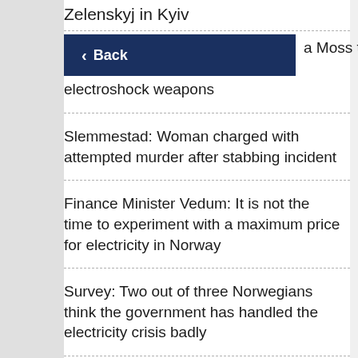Zelenskyj in Kyiv
[Figure (other): Back navigation button with left arrow and 'Back' label on dark blue background]
Moss threatened victims with electroshock weapons
Slemmestad: Woman charged with attempted murder after stabbing incident
Finance Minister Vedum: It is not the time to experiment with a maximum price for electricity in Norway
Survey: Two out of three Norwegians think the government has handled the electricity crisis badly